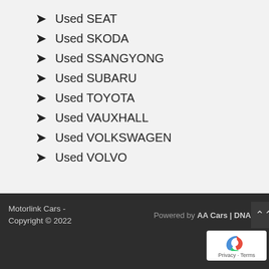Used SEAT
Used SKODA
Used SSANGYONG
Used SUBARU
Used TOYOTA
Used VAUXHALL
Used VOLKSWAGEN
Used VOLVO
Motorlink Cars - Copyright © 2022  Powered by AA Cars | DNA